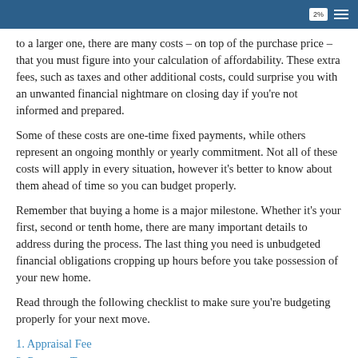2%
to a larger one, there are many costs – on top of the purchase price – that you must figure into your calculation of affordability. These extra fees, such as taxes and other additional costs, could surprise you with an unwanted financial nightmare on closing day if you're not informed and prepared.
Some of these costs are one-time fixed payments, while others represent an ongoing monthly or yearly commitment. Not all of these costs will apply in every situation, however it's better to know about them ahead of time so you can budget properly.
Remember that buying a home is a major milestone. Whether it's your first, second or tenth home, there are many important details to address during the process. The last thing you need is unbudgeted financial obligations cropping up hours before you take possession of your new home.
Read through the following checklist to make sure you're budgeting properly for your next move.
1. Appraisal Fee
2. Property Taxes